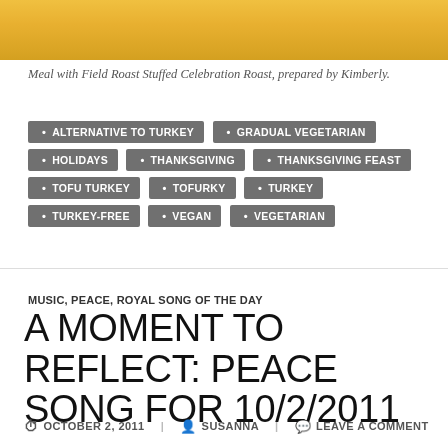[Figure (photo): Food photo showing a meal with Field Roast Stuffed Celebration Roast, cropped at top]
Meal with Field Roast Stuffed Celebration Roast, prepared by Kimberly.
ALTERNATIVE TO TURKEY
GRADUAL VEGETARIAN
HOLIDAYS
THANKSGIVING
THANKSGIVING FEAST
TOFU TURKEY
TOFURKY
TURKEY
TURKEY-FREE
VEGAN
VEGETARIAN
MUSIC, PEACE, ROYAL SONG OF THE DAY
A MOMENT TO REFLECT: PEACE SONG FOR 10/2/2011
OCTOBER 2, 2011  SUSANNA  LEAVE A COMMENT